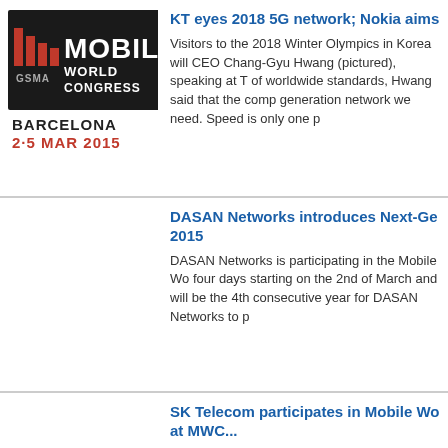[Figure (logo): GSMA Mobile World Congress Barcelona 2-5 Mar 2015 logo]
KT eyes 2018 5G network; Nokia aims
Visitors to the 2018 Winter Olympics in Korea will CEO Chang-Gyu Hwang (pictured), speaking at T of worldwide standards, Hwang said that the comp generation network we need. Speed is only one p
DASAN Networks introduces Next-Ge 2015
DASAN Networks is participating in the Mobile Wo four days starting on the 2nd of March and will be the 4th consecutive year for DASAN Networks to p
SK Telecom participates in Mobile Wo at MWC...
SK Telecom participates in Mobile World Congress at accelerating the evolution towards 5G; introduc